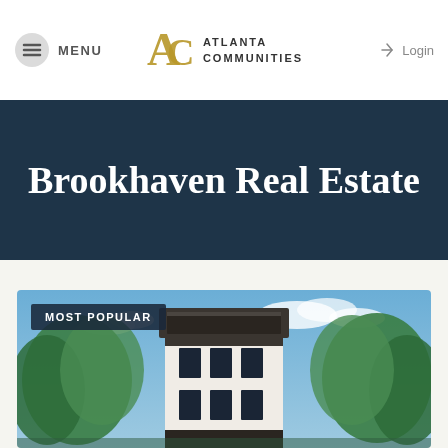MENU | Atlanta Communities | Login
Brookhaven Real Estate
[Figure (photo): Exterior photo of a modern multi-story townhouse or residential building with white facade, large windows, dark roof terrace, surrounded by green trees under a blue sky. Badge reads MOST POPULAR.]